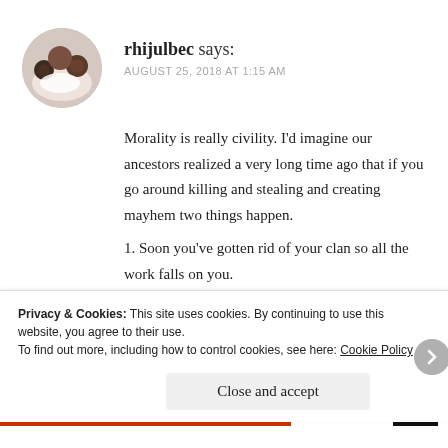[Figure (photo): Circular avatar photo of a woman with two children, dark background]
rhijulbec says:
AUGUST 25, 2018 AT 1:15 AM
Morality is really civility. I'd imagine our ancestors realized a very long time ago that if you go around killing and stealing and creating mayhem two things happen.
1. Soon you've gotten rid of your clan so all the work falls on you.
2. People or animals will inevitably try to kill you or steal your food etc. Better to act as a unit and
Privacy & Cookies: This site uses cookies. By continuing to use this website, you agree to their use.
To find out more, including how to control cookies, see here: Cookie Policy
Close and accept